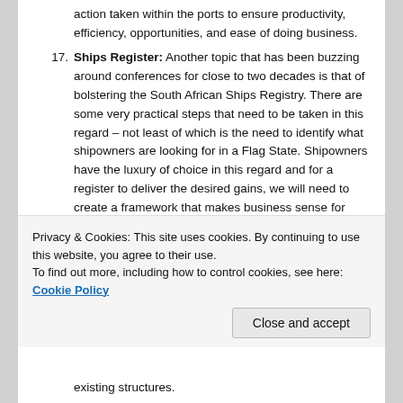action taken within the ports to ensure productivity, efficiency, opportunities, and ease of doing business.
Ships Register: Another topic that has been buzzing around conferences for close to two decades is that of bolstering the South African Ships Registry. There are some very practical steps that need to be taken in this regard – not least of which is the need to identify what shipowners are looking for in a Flag State. Shipowners have the luxury of choice in this regard and for a register to deliver the desired gains, we will need to create a framework that makes business sense for shipowners.
Transformation: While there has been transformation in various sub sectors of the maritime industry, many believe that this is still not enough and that the BBBEE
existing structures.
Privacy & Cookies: This site uses cookies. By continuing to use this website, you agree to their use. To find out more, including how to control cookies, see here: Cookie Policy
Close and accept